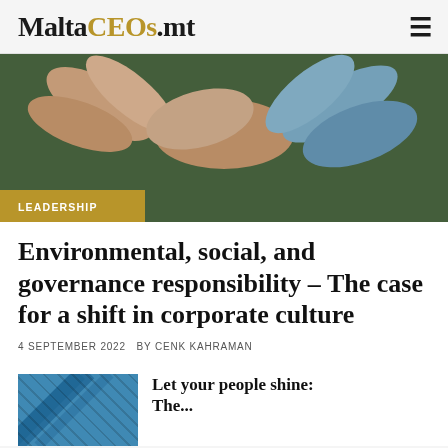MaltaCEOs.mt
[Figure (photo): Multiple hands of diverse people joining together in a circle from above, photographed on green grass background. A gold/tan banner overlay at the bottom left reads LEADERSHIP.]
Environmental, social, and governance responsibility – The case for a shift in corporate culture
4 SEPTEMBER 2022   BY CENK KAHRAMAN
[Figure (photo): Partial thumbnail image showing blue geometric diagonal lines, associated with a teaser article titled 'Let your people shine: The...']
Let your people shine: The...